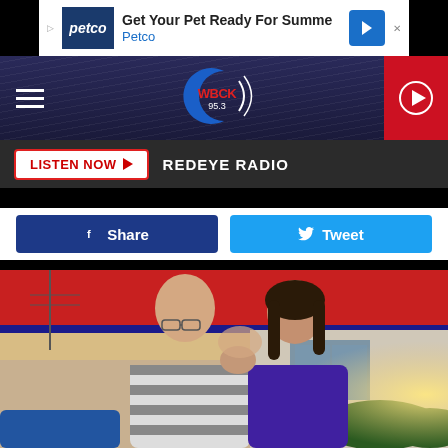[Figure (screenshot): Petco advertisement banner: blue Petco logo, text 'Get Your Pet Ready For Summe', 'Petco', blue navigation arrow icon]
[Figure (screenshot): WBCK 95.3 radio station navigation bar with hamburger menu, WBCK logo, and red play button]
LISTEN NOW  REDEYE RADIO
[Figure (screenshot): Social sharing buttons: blue Facebook Share button and cyan Twitter Tweet button]
[Figure (photo): A couple kissing in front of a fast food restaurant with a red roof, photographed at golden hour. The man is bald and wearing a striped shirt; the woman has long dark hair and wears a purple top.]